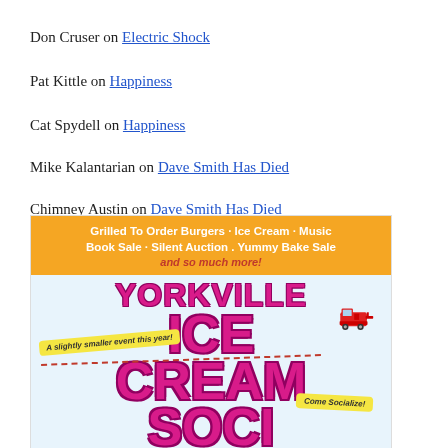Don Cruser on Electric Shock
Pat Kittle on Happiness
Cat Spydell on Happiness
Mike Kalantarian on Dave Smith Has Died
Chimney Austin on Dave Smith Has Died
[Figure (illustration): Yorkville Ice Cream Social event flyer/poster. Orange banner at top reads: 'Grilled To Order Burgers · Ice Cream · Music Book Sale · Silent Auction . Yummy Bake Sale and so much more!' Below is a light blue background with large hot-pink bold text reading 'YORKVILLE ICE CREAM SOCIAL'. A yellow badge on left says 'A slightly smaller event this year!' and another yellow badge on right says 'Come Socialize!' A small fire truck illustration is in the upper right. Dotted red line curves across the poster.]